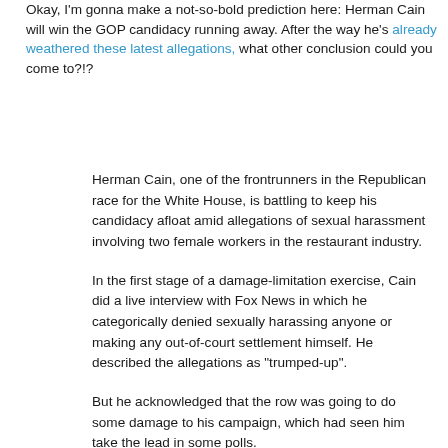Okay, I'm gonna make a not-so-bold prediction here: Herman Cain will win the GOP candidacy running away. After the way he's already weathered these latest allegations, what other conclusion could you come to?!?
Herman Cain, one of the frontrunners in the Republican race for the White House, is battling to keep his candidacy afloat amid allegations of sexual harassment involving two female workers in the restaurant industry.
In the first stage of a damage-limitation exercise, Cain did a live interview with Fox News in which he categorically denied sexually harassing anyone or making any out-of-court settlement himself. He described the allegations as "trumped-up".
But he acknowledged that the row was going to do some damage to his campaign, which had seen him take the lead in some polls.
"Obviously, some people will be turned off by this...